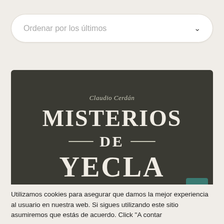Ordenar por los últimos
[Figure (illustration): Book cover for 'Misterios de Yecla' by Claudio Cerdán. Dark olive/brown background with white serif typography. Author name at top, then large bold text reading MISTERIOS, then DE with decorative dashes on each side, then YECLA in very large letters.]
Utilizamos cookies para asegurar que damos la mejor experiencia al usuario en nuestra web. Si sigues utilizando este sitio asumiremos que estás de acuerdo. Click "A contar